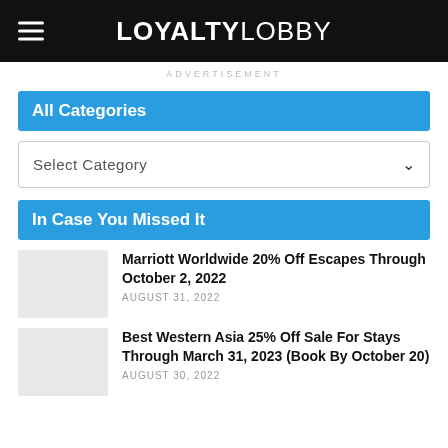LOYALTYLOBBY
ADVERTISEMENT
All Categories
Select Category
In Case You Missed It
Marriott Worldwide 20% Off Escapes Through October 2, 2022 — AUGUST 31, 2022
Best Western Asia 25% Off Sale For Stays Through March 31, 2023 (Book By October 20) — AUGUST 30, 2022